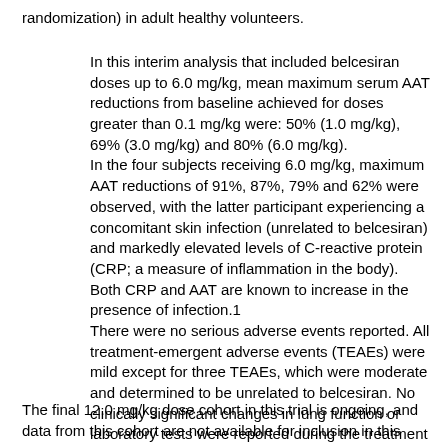randomization) in adult healthy volunteers.
In this interim analysis that included belcesiran doses up to 6.0 mg/kg, mean maximum serum AAT reductions from baseline achieved for doses greater than 0.1 mg/kg were: 50% (1.0 mg/kg), 69% (3.0 mg/kg) and 80% (6.0 mg/kg). In the four subjects receiving 6.0 mg/kg, maximum AAT reductions of 91%, 87%, 79% and 62% were observed, with the latter participant experiencing a concomitant skin infection (unrelated to belcesiran) and markedly elevated levels of C-reactive protein (CRP; a measure of inflammation in the body). Both CRP and AAT are known to increase in the presence of infection.1 There were no serious adverse events reported. All treatment-emergent adverse events (TEAEs) were mild except for three TEAEs, which were moderate and determined to be unrelated to belcesiran. No clinically significant changes in lung function or laboratory tests were reported during the treatment periods for any of the belcesiran dose cohorts included in this analysis.
The final 12.0 mg/kg dose cohort in this trial is ongoing, and data from this cohort are not available for inclusion in this